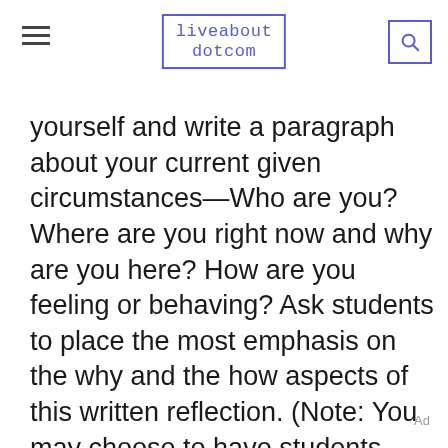liveabout dotcom
yourself and write a paragraph about your current given circumstances—Who are you? Where are you right now and why are you here? How are you feeling or behaving? Ask students to place the most emphasis on the why and the how aspects of this written reflection. (Note: You may choose to have students identify themselves by name or you can leave that part of the “who” out of the writing.)
Ad